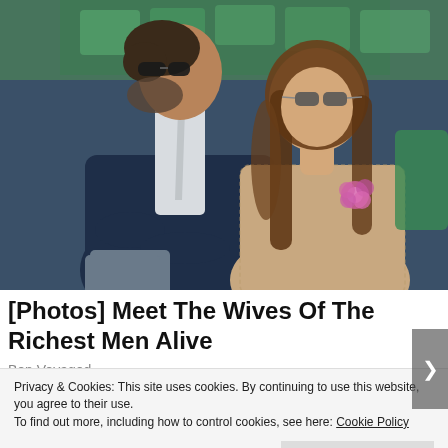[Figure (photo): Two people sitting in stadium seats. On the left, an older man wearing a dark navy suit, white shirt, and sunglasses, with a grey beard. On the right, a young woman with long brown hair wearing a lace/knit beige top and sunglasses, with a pink flower brooch. Bright green stadium seats visible in the background.]
[Photos] Meet The Wives Of The Richest Men Alive
Bon Voyaged
Privacy & Cookies: This site uses cookies. By continuing to use this website, you agree to their use.
To find out more, including how to control cookies, see here: Cookie Policy
Close and accept
BROWSING